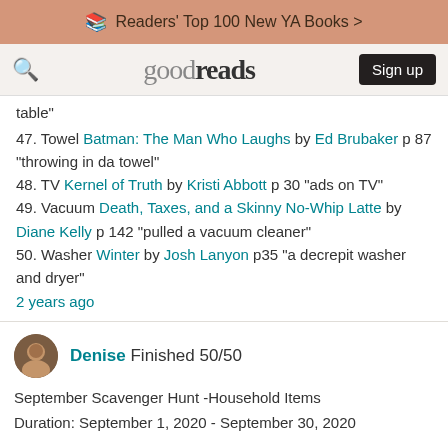📖 Readers' Top 100 New YA Books >
goodreads  Sign up
table"
47. Towel Batman: The Man Who Laughs by Ed Brubaker p 87 "throwing in da towel"
48. TV Kernel of Truth by Kristi Abbott p 30 "ads on TV"
49. Vacuum Death, Taxes, and a Skinny No-Whip Latte by Diane Kelly p 142 "pulled a vacuum cleaner"
50. Washer Winter by Josh Lanyon p35 "a decrepit washer and dryer"
2 years ago
Denise Finished 50/50
September Scavenger Hunt -Household Items
Duration: September 1, 2020 - September 30, 2020

Choose your level:
Furniture: 50/50 words